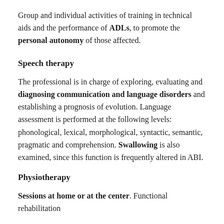Group and individual activities of training in technical aids and the performance of ADLs, to promote the personal autonomy of those affected.
Speech therapy
The professional is in charge of exploring, evaluating and diagnosing communication and language disorders and establishing a prognosis of evolution. Language assessment is performed at the following levels: phonological, lexical, morphological, syntactic, semantic, pragmatic and comprehension. Swallowing is also examined, since this function is frequently altered in ABI.
Physiotherapy
Sessions at home or at the center. Functional rehabilitation